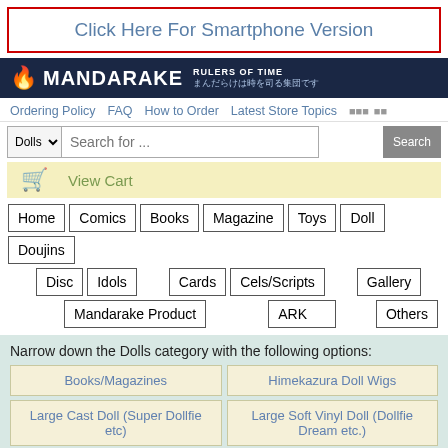[Figure (screenshot): Mandarake online store webpage screenshot showing smartphone banner, site header with logo, navigation bar, search bar, cart bar, category navigation buttons, and Dolls category filter options.]
Click Here For Smartphone Version
MANDARAKE RULERS OF TIME まんだらけは時を司る集団です
Ordering Policy
FAQ
How to Order
Latest Store Topics
Search for ...
View Cart
Home
Comics
Books
Magazine
Toys
Doll
Doujins
Disc
Idols
Cards
Cels/Scripts
Gallery
Mandarake Product
ARK
Others
Narrow down the Dolls category with the following options:
Books/Magazines
Himekazura Doll Wigs
Large Cast Doll (Super Dollfie etc)
Large Soft Vinyl Doll (Dollfie Dream etc.)